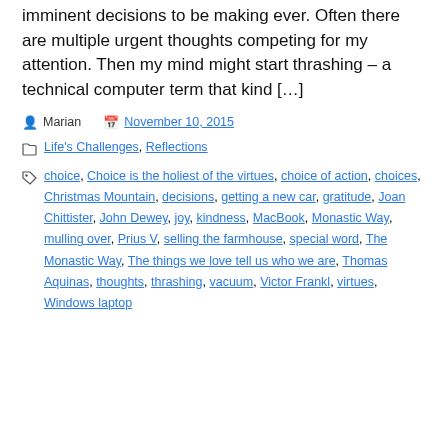imminent decisions to be making ever. Often there are multiple urgent thoughts competing for my attention. Then my mind might start thrashing – a technical computer term that kind […]
Marian   November 10, 2015
Life's Challenges, Reflections
choice, Choice is the holiest of the virtues, choice of action, choices, Christmas Mountain, decisions, getting a new car, gratitude, Joan Chittister, John Dewey, joy, kindness, MacBook, Monastic Way, mulling over, Prius V, selling the farmhouse, special word, The Monastic Way, The things we love tell us who we are, Thomas Aquinas, thoughts, thrashing, vacuum, Victor Frankl, virtues, Windows laptop